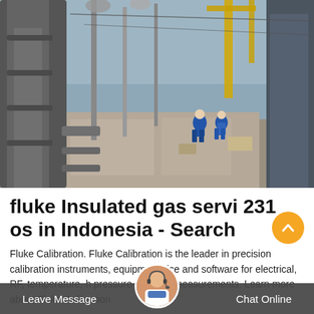[Figure (photo): Industrial electrical substation with large equipment and pipes in foreground, workers in blue protective suits working in the background, overhead power lines and yellow cranes visible, industrial facility in Indonesia]
fluke Insulated gas servi 231 os in Indonesia - Search
Fluke Calibration. Fluke Calibration is the leader in precision calibration instruments, equipm service and software for electrical, RF, temperature, h pressure and flow measurements. Learn more about Fluke Calibration